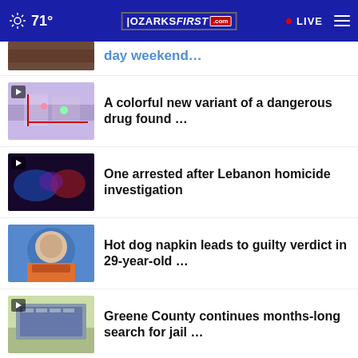71° OZARKSFIRST.com LIVE
day weekend…
A colorful new variant of a dangerous drug found …
One arrested after Lebanon homicide investigation
Hot dog napkin leads to guilty verdict in 29-year-old …
Greene County continues months-long search for jail …
More Stories ›